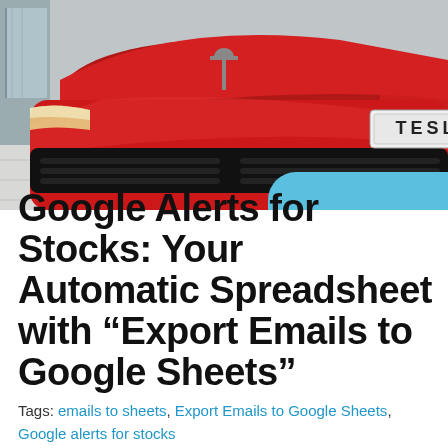[Figure (photo): Close-up front view of a red Tesla car showing the Tesla logo badge and front grille in a showroom setting with tiled floor visible.]
Google Alerts for Stocks: Your Automatic Spreadsheet with “Export Emails to Google Sheets”
Tags: emails to sheets, Export Emails to Google Sheets, Google alerts for stocks